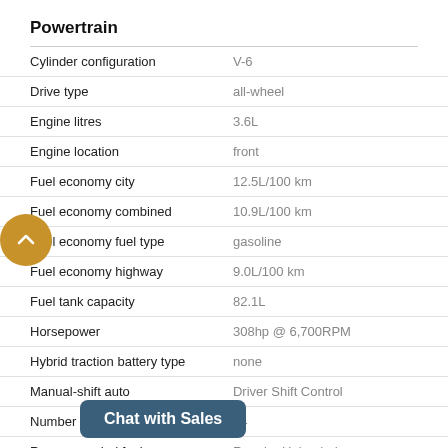Powertrain
| Specification | Value |
| --- | --- |
| Cylinder configuration | V-6 |
| Drive type | all-wheel |
| Engine litres | 3.6L |
| Engine location | front |
| Fuel economy city | 12.5L/100 km |
| Fuel economy combined | 10.9L/100 km |
| Fuel economy fuel type | gasoline |
| Fuel economy highway | 9.0L/100 km |
| Fuel tank capacity | 82.1L |
| Horsepower | 308hp @ 6,700RPM |
| Hybrid traction battery type | none |
| Manual-shift auto | Driver Shift Control |
| Number of valves | 24 |
| Recommended fuel | Regular Unleaded |
| Torque | 270 lb.-ft. @ ⁠⁠RPM |
| Transmission | ⁠ed automatic |